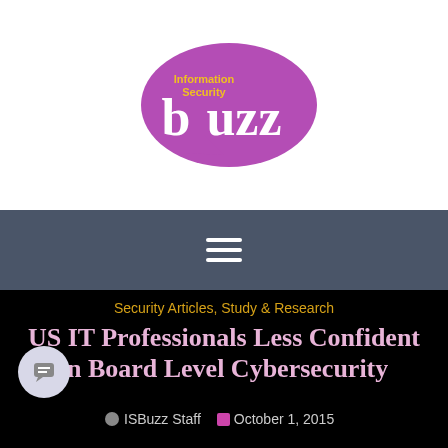[Figure (logo): Information Security Buzz logo — purple speech bubble with 'buzz' in large white text and 'Information Security' in yellow text above it]
[Figure (other): Navigation hamburger menu icon — three horizontal white lines on dark grey background]
Security Articles, Study & Research
US IT Professionals Less Confident in Board Level Cybersecurity Literacy than UK Counterparts
ISBuzz Staff   October 1, 2015